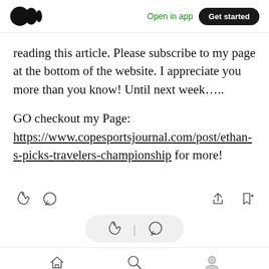Medium logo | Open in app | Get started
reading this article. Please subscribe to my page at the bottom of the website. I appreciate you more than you know! Until next week…..
GO checkout my Page: https://www.copesportsjournal.com/post/ethan-s-picks-travelers-championship for more!